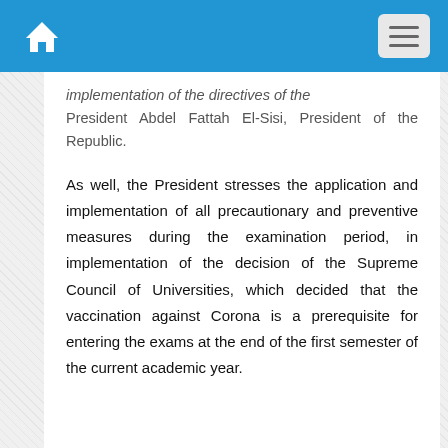Home menu
implementation of the directives of the President Abdel Fattah El-Sisi, President of the Republic.

As well, the President stresses the application and implementation of all precautionary and preventive measures during the examination period, in implementation of the decision of the Supreme Council of Universities, which decided that the vaccination against Corona is a prerequisite for entering the exams at the end of the first semester of the current academic year.